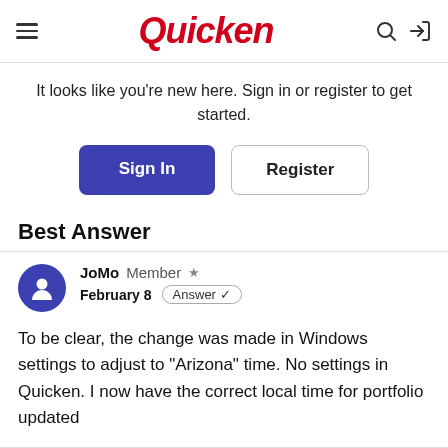Quicken
It looks like you're new here. Sign in or register to get started.
Sign In   Register
Best Answer
JoMo  Member  ★  February 8  Answer ✓
To be clear, the change was made in Windows settings to adjust to "Arizona" time. No settings in Quicken. I now have the correct local time for portfolio updated